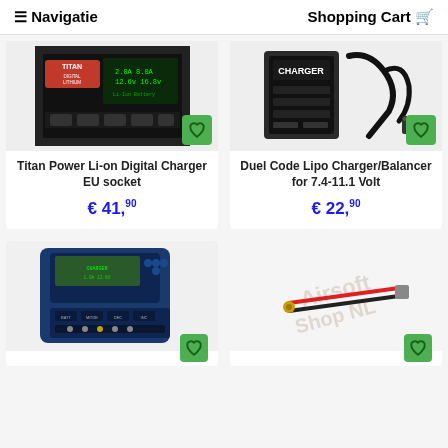≡ Navigatie    Shopping Cart 🛒
[Figure (photo): Titan Power Li-on Digital Battery Charger product photo, black device with display]
Titan Power Li-on Digital Charger EU socket
€ 41,90
[Figure (photo): Duel Code Lipo Charger/Balancer product photo with power cable]
Duel Code Lipo Charger/Balancer for 7.4-11.1 Volt
€ 22,90
[Figure (photo): Blue battery charger with LCD display and multiple buttons]
[Figure (photo): Red and black cable/wire with Airsoft Shop NL watermark]